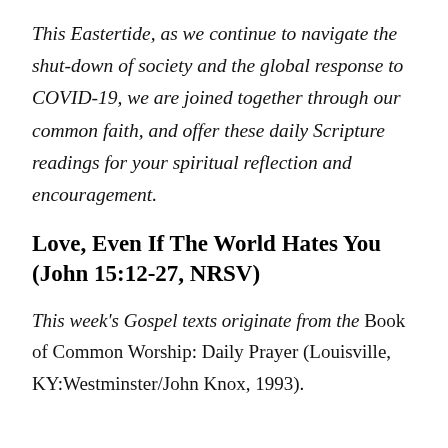This Eastertide, as we continue to navigate the shut-down of society and the global response to COVID-19, we are joined together through our common faith, and offer these daily Scripture readings for your spiritual reflection and encouragement.
Love, Even If The World Hates You (John 15:12-27, NRSV)
This week's Gospel texts originate from the Book of Common Worship: Daily Prayer (Louisville, KY:Westminster/John Knox, 1993).